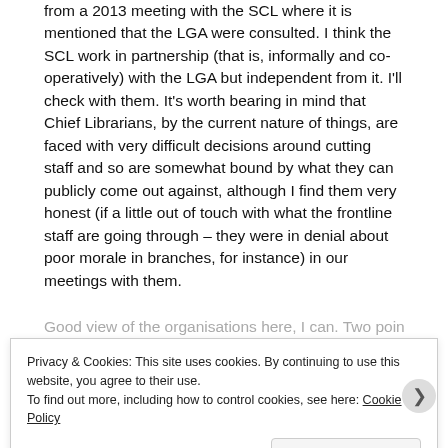from a 2013 meeting with the SCL where it is mentioned that the LGA were consulted. I think the SCL work in partnership (that is, informally and co-operatively) with the LGA but independent from it. I'll check with them. It's worth bearing in mind that Chief Librarians, by the current nature of things, are faced with very difficult decisions around cutting staff and so are somewhat bound by what they can publicly come out against, although I find them very honest (if a little out of touch with what the frontline staff are going through – they were in denial about poor morale in branches, for instance) in our meetings with them.
Good view of the organisations here, I can. Two points
Privacy & Cookies: This site uses cookies. By continuing to use this website, you agree to their use.
To find out more, including how to control cookies, see here: Cookie Policy